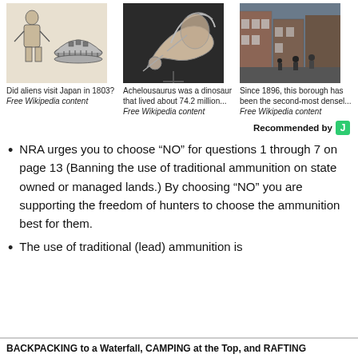[Figure (photo): Three images: 1) Black and white illustration of a woman and a dome-shaped object (alien craft from Japan 1803). 2) Photo of Achelousaurus dinosaur skull/bones at museum. 3) Photo of a street scene in a borough since 1896.]
Did aliens visit Japan in 1803?
Free Wikipedia content
Achelousaurus was a dinosaur that lived about 74.2 million...
Free Wikipedia content
Since 1896, this borough has been the second-most densel...
Free Wikipedia content
Recommended by
NRA urges you to choose “NO” for questions 1 through 7 on page 13 (Banning the use of traditional ammunition on state owned or managed lands.) By choosing “NO” you are supporting the freedom of hunters to choose the ammunition best for them.
The use of traditional (lead) ammunition is
BACKPACKING to a Waterfall, CAMPING at the Top, and RAFTING